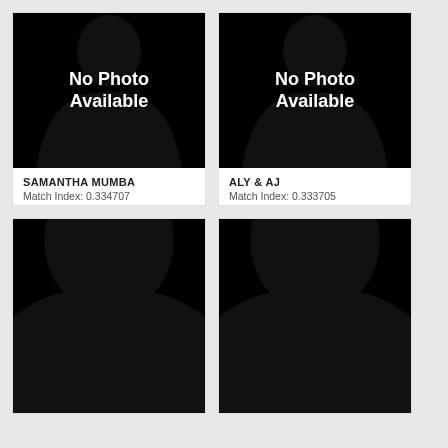[Figure (photo): No photo available placeholder silhouette for Samantha Mumba]
SAMANTHA MUMBA
Match Index: 0.334707
Artist top 50 songs
See Similar Artists
See Artist Info
[Figure (photo): No photo available placeholder silhouette for Aly & AJ]
ALY & AJ
Match Index: 0.333705
Artist top 50 songs
See Similar Artists
See Artist Info
[Figure (photo): No photo available placeholder silhouette, partial view (bottom card left)]
[Figure (photo): No photo available placeholder silhouette, partial view (bottom card right)]